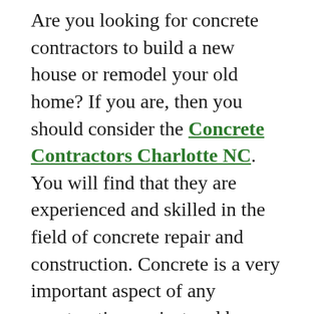Are you looking for concrete contractors to build a new house or remodel your old home? If you are, then you should consider the Concrete Contractors Charlotte NC. You will find that they are experienced and skilled in the field of concrete repair and construction. Concrete is a very important aspect of any construction project and hence it is necessary to have experts do the work.
There are many concrete contractors that you can choose from. However, before hiring any of them, it is necessary to take a look at their previous projects. This will give you an idea of the quality of work that they provide. Moreover, you should also consider the cost of the project so that you can plan your budget. There are many factors like quality of